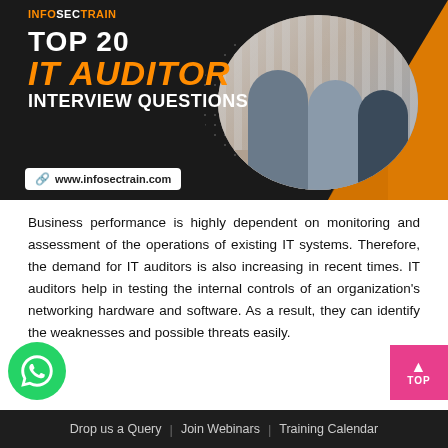[Figure (illustration): InfosecTrain banner with title 'TOP 20 IT AUDITOR INTERVIEW QUESTIONS' on dark background, with photo of professionals in a meeting, orange diagonal accents, and website URL www.infosectrain.com]
Business performance is highly dependent on monitoring and assessment of the operations of existing IT systems. Therefore, the demand for IT auditors is also increasing in recent times. IT auditors help in testing the internal controls of an organization's networking hardware and software. As a result, they can identify the weaknesses and possible threats easily.
Drop us a Query  |  Join Webinars  |  Training Calendar